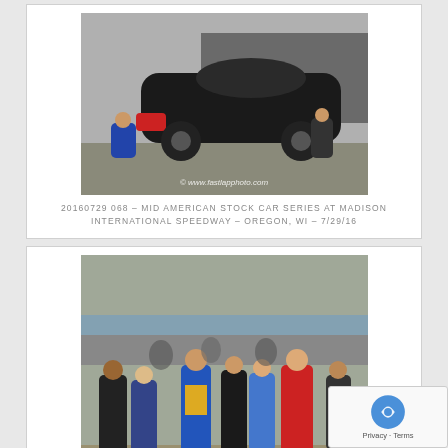[Figure (photo): Photo of a black stock car being worked on in the pit area, crew members kneeling beside it. Watermark: © www.fastlapphoto.com]
20160729 068 – MID AMERICAN STOCK CAR SERIES AT MADISON INTERNATIONAL SPEEDWAY – OREGON, WI – 7/29/16
[Figure (photo): Photo of a group of people standing in a pit/paddock area, one person in a red racing suit, others in casual clothes. Watermark: © www.fastlapphoto.com]
20160729 347 – MID AMERICAN STOCK CAR SERIES AT MADISON INTERNATIONAL SPEEDWAY – OREGON, WI – 7/29/16
[Figure (photo): Partial photo of people standing in a garage/trailer opening, partially visible at bottom of page. Watermark: © www.fastlapphoto.com]